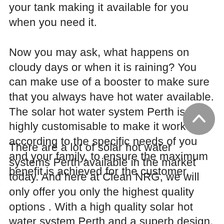your tank making it available for you when you need it.
Now you may ask, what happens on cloudy days or when it is raining? You can make use of a booster to make sure that you always have hot water available. The solar hot water system Perth is highly customisable to make it work according to the specific needs of you and your family, to ensure the maximum benefit is achieved for the customer.
There are a lot of solar hot water systems Perth available in the market today. And here at Clean NRG, we will only offer you only the highest quality options . With a high quality solar hot water system Perth and a superb design, you can certainly have a system that will last you for years to come.